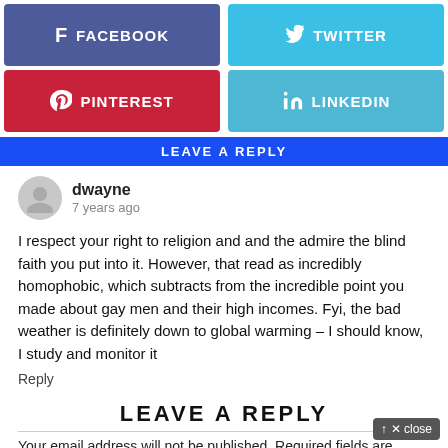[Figure (screenshot): Social share buttons: Facebook (purple), Twitter (light blue), Pinterest (red), LinkedIn (light blue)]
LEAVE A REPLY
dwayne
7 years ago
I respect your right to religion and and the admire the blind faith you put into it. However, that read as incredibly homophobic, which subtracts from the incredible point you made about gay men and their high incomes. Fyi, the bad weather is definitely down to global warming – I should know, I study and monitor it
Reply
LEAVE A REPLY
Your email address will not be published. Required fields are